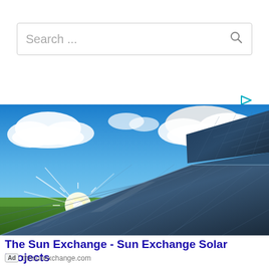[Figure (screenshot): Search bar with placeholder text 'Search ...' and a magnifying glass icon on the right]
[Figure (photo): Solar panels in a field under a bright blue sky with white clouds and a bright sun shining, advertisement image for The Sun Exchange]
The Sun Exchange - Sun Exchange Solar Projects
Ad  thesunexchange.com